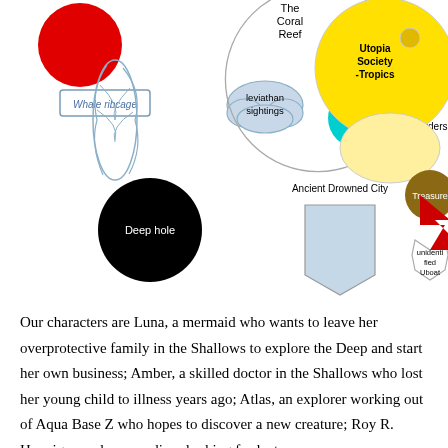[Figure (illustration): A hand-drawn fantasy map of an underwater world showing various labeled locations: The Coral Reef (top center), a red circle (top left), a feather/coral shape (left), Whale ribcage label (left), Leviathan sightings cloud (center-left), Aqua Base Z cyan circle (center), Utopia Society -Tropics (large yellow circle, top right), Borders label, Treasure brown circle (right), unidentified Uboat hexagon (far right), Deep hole black circle (bottom left), Ancient Drowned City blue pentagon (bottom center), Volcanic Vent red lightning bolt (bottom center-right).]
Our characters are Luna, a mermaid who wants to leave her overprotective family in the Shallows to explore the Deep and start her own business; Amber, a skilled doctor in the Shallows who lost her young child to illness years ago; Atlas, an explorer working out of Aqua Base Z who hopes to discover a new creature; Roy R. Hannigan, a deep sea diver looking for lost